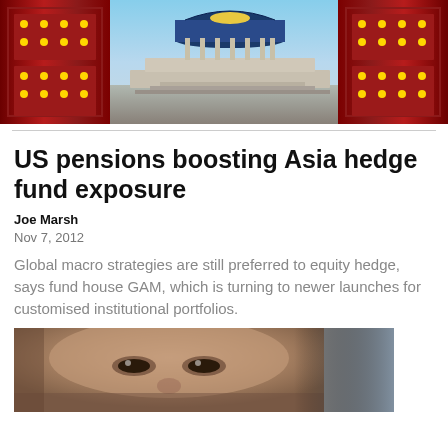[Figure (photo): Photo of Temple of Heaven in Beijing, China, viewed through large red ornate doors with gold studs]
US pensions boosting Asia hedge fund exposure
Joe Marsh
Nov 7, 2012
Global macro strategies are still preferred to equity hedge, says fund house GAM, which is turning to newer launches for customised institutional portfolios.
[Figure (photo): Close-up portrait photo of a man's face, likely Joe Marsh]